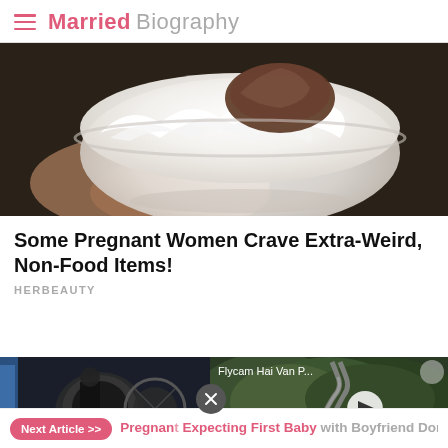Married Biography
[Figure (photo): Close-up photo of a hand holding a bowl of whipped cream with a dark food item being dipped into it]
Some Pregnant Women Crave Extra-Weird, Non-Food Items!
HERBEAUTY
[Figure (screenshot): Two video thumbnails side by side: left shows a dark indoor scene, right shows aerial footage of a winding road through hills with text 'Flycam Hai Van P...' and a play button]
Next Article >> Pregnant Expecting First Baby with Boyfriend Dom Fenison